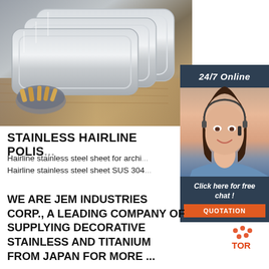[Figure (photo): Stainless steel hairline polished trays/sinks stacked, with a bowl of food visible in lower left, on a wooden surface background]
[Figure (photo): Customer service agent woman with headset smiling, with '24/7 Online' header panel above and 'Click here for free chat!' and 'QUOTATION' button panel below]
STAINLESS HAIRLINE POLIS...
Hairline stainless steel sheet for archi...
Hairline stainless steel sheet SUS 304...
WE ARE JEM INDUSTRIES CORP., A LEADING COMPANY OF SUPPLYING DECORATIVE STAINLESS AND TITANIUM FROM JAPAN FOR MORE ...